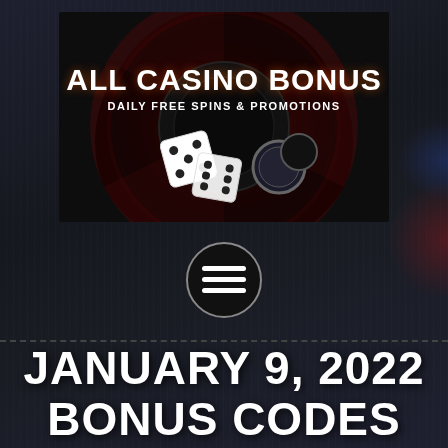[Figure (logo): All Casino Bonus logo banner with roulette wheel, dice, and casino chips on dark background. Text reads 'ALL CASINO BONUS' in white bold letters and 'DAILY FREE SPINS & PROMOTIONS' below in smaller white text.]
[Figure (illustration): Hamburger menu icon — three horizontal white lines inside a dark circle with a thin white border.]
JANUARY 9, 2022 BONUS CODES